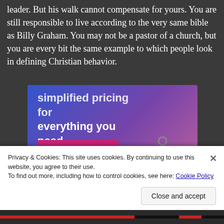leader. But his walk cannot compensate for yours. You are still responsible to live according to the very same bible as Billy Graham. You may not be a pastor of a church, but you are every bit the same example to which people look in defining Christian behavior.
[Figure (screenshot): Advertisement banner with gradient blue-purple-pink background, text 'Simplified pricing for everything you need.' with a pink 'Build Your Website' button and a price tag illustration.]
Privacy & Cookies: This site uses cookies. By continuing to use this website, you agree to their use.
To find out more, including how to control cookies, see here: Cookie Policy
Close and accept